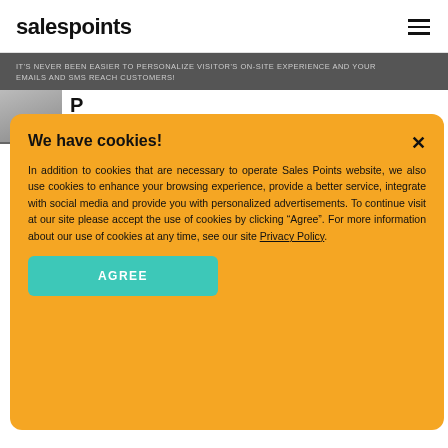salespoints
IT'S NEVER BEEN EASIER TO PERSONALIZE VISITOR'S ON-SITE EXPERIENCE AND YOUR EMAILS AND SMS REACH CUSTOMERS!
[Figure (screenshot): Cookie consent modal popup with orange background showing 'We have cookies!' title, body text about cookie usage, a Privacy Policy link, and a teal AGREE button.]